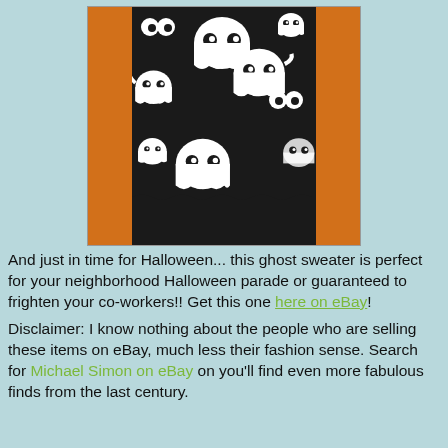[Figure (photo): A black knit sweater with white ghost print pattern hanging on a hanger against an orange background. Multiple cartoon-style ghosts with googly eyes are printed across the dark fabric.]
And just in time for Halloween... this ghost sweater is perfect for your neighborhood Halloween parade or guaranteed to frighten your co-workers!! Get this one here on eBay!
Disclaimer: I know nothing about the people who are selling these items on eBay, much less their fashion sense. Search for Michael Simon on eBay on you'll find even more fabulous finds from the last century.